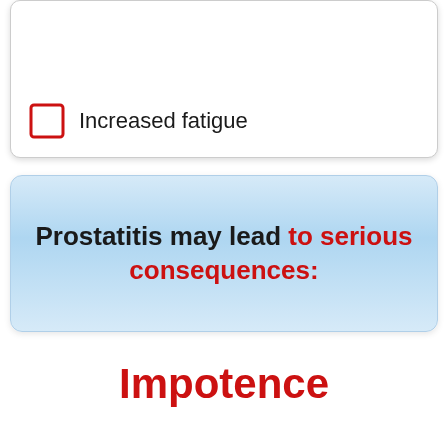Increased fatigue
Prostatitis may lead to serious consequences:
Impotence